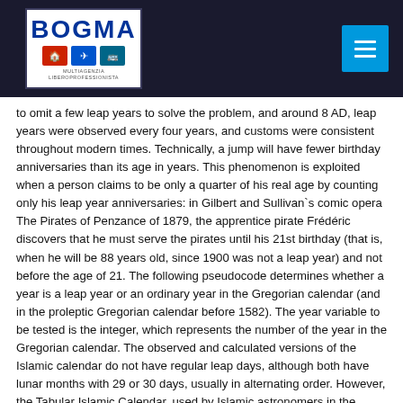BOGMA
to omit a few leap years to solve the problem, and around 8 AD, leap years were observed every four years, and customs were consistent throughout modern times. Technically, a jump will have fewer birthday anniversaries than its age in years. This phenomenon is exploited when a person claims to be only a quarter of his real age by counting only his leap year anniversaries: in Gilbert and Sullivan`s comic opera The Pirates of Penzance of 1879, the apprentice pirate Frédéric discovers that he must serve the pirates until his 21st birthday (that is, when he will be 88 years old, since 1900 was not a leap year) and not before the age of 21. The following pseudocode determines whether a year is a leap year or an ordinary year in the Gregorian calendar (and in the proleptic Gregorian calendar before 1582). The year variable to be tested is the integer, which represents the number of the year in the Gregorian calendar. The observed and calculated versions of the Islamic calendar do not have regular leap days, although both have lunar months with 29 or 30 days, usually in alternating order. However, the Tabular Islamic Calendar, used by Islamic astronomers in the Middle Ages and still used by some Muslims, has a regular leap day added to the last month of the lunar year in 11 years of a 30-year cycle. [21] This extra day is at the end of last month, Dhu al-Hijijah, which is also the month of Hajj.